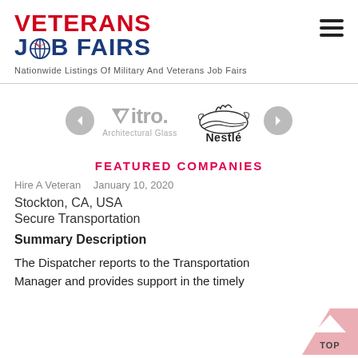[Figure (logo): Veterans Job Fairs logo with red VETERANS text and blue JOB FAIRS text, with a military-style globe icon replacing the O in JOB]
Nationwide Listings Of Military And Veterans Job Fairs
[Figure (illustration): Carousel with Vitro Architectural Glass logo and Nestle logo, with left and right navigation arrows]
FEATURED COMPANIES
Hire A Veteran    January 10, 2020
Stockton, CA, USA
Secure Transportation
Summary Description
The Dispatcher reports to the Transportation Manager and provides support in the timely